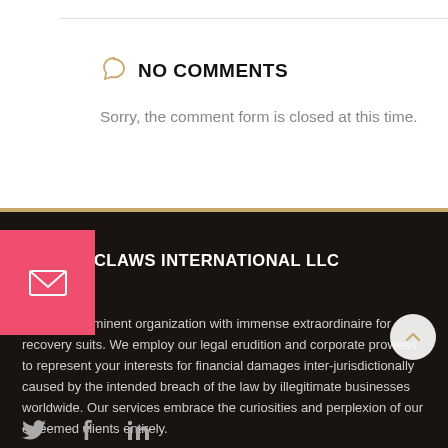NO COMMENTS
Sorry, the comment form is closed at this time.
RECLAWS INTERNATIONAL LLC
We are an eminent organization with immense extraordinaire for recovery suits. We employ our legal erudition and corporate prowess to represent your interests for financial damages inter-jurisdictionally caused by the intended breach of the law by illegitimate businesses worldwide. Our services embrace the curiosities and perplexion of our esteemed clients entirely.